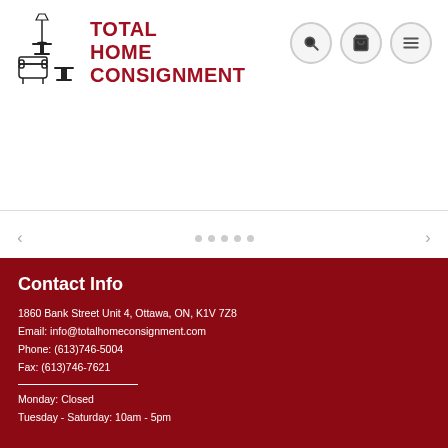[Figure (logo): Total Home Consignment logo with furniture silhouettes and red text]
[Figure (other): Navigation icons: search magnifying glass, shopping cart, and hamburger menu, in circular grey buttons]
[Figure (other): Slider navigation area with left arrow, dots, and right arrow]
Contact Info
1860 Bank Street Unit 4, Ottawa, ON, K1V 7Z8
Email: info@totalhomeconsignment.com
Phone: (613)746-5004
Fax: (613)746-7621
Monday: Closed
Tuesday - Saturday: 10am - 5pm